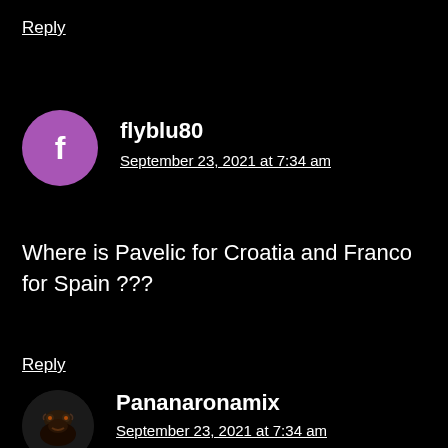Reply
flyblu80
September 23, 2021 at 7:34 am
Where is Pavelic for Croatia and Franco for Spain ???
Reply
Pananaronamix
September 23, 2021 at 7:34 am